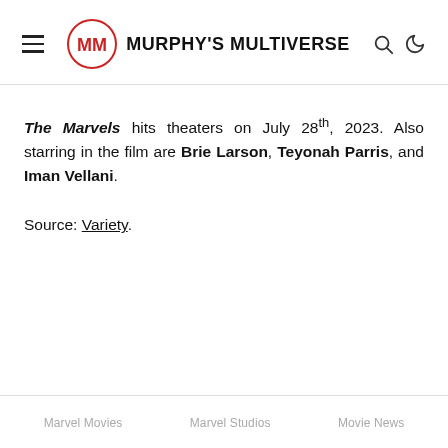Murphy's Multiverse
The Marvels hits theaters on July 28th, 2023. Also starring in the film are Brie Larson, Teyonah Parris, and Iman Vellani.
Source: Variety.
Marvel Movies   Marvel Studios   Movie News